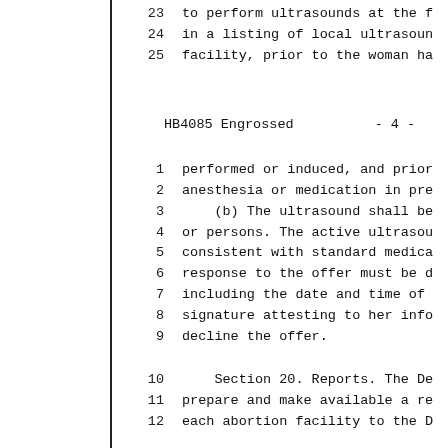23    to perform ultrasounds at the f
24    in a listing of local ultrasoun
25    facility, prior to the woman ha
HB4085 Engrossed  -  4  -
1    performed or induced, and prior
2    anesthesia or medication in pre
3    (b) The ultrasound shall be
4    or persons. The active ultrasou
5    consistent with standard medica
6    response to the offer must be d
7    including the date and time of
8    signature attesting to her info
9    decline the offer.
10    Section 20. Reports. The De
11    prepare and make available a re
12    each abortion facility to the D